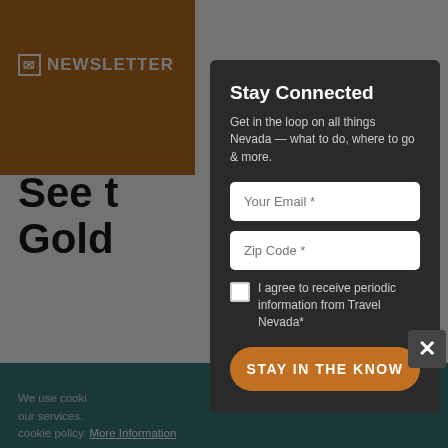NEWSLETTER
See the Golden...
Fremont Street ... Nugget Casino ... aquarium ... through ... with on a ... Nugget's ... witness f... types of s... don't mis...
We use cooki... our services. cookie policy. More Information
Stay Connected
Get in the loop on all things Nevada — what to do, where to go & more.
Your Email *
Zip Code *
I agree to receive periodic information from Travel Nevada*
STAY IN THE KNOW